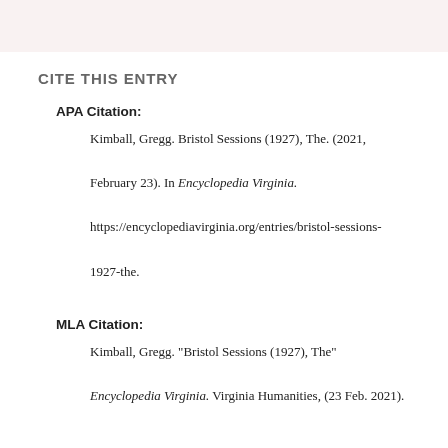CITE THIS ENTRY
APA Citation:
Kimball, Gregg. Bristol Sessions (1927), The. (2021, February 23). In Encyclopedia Virginia. https://encyclopediavirginia.org/entries/bristol-sessions-1927-the.
MLA Citation:
Kimball, Gregg. "Bristol Sessions (1927), The" Encyclopedia Virginia. Virginia Humanities, (23 Feb. 2021).